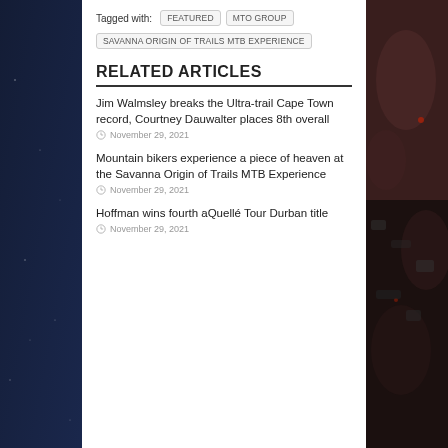Tagged with: FEATURED  MTO GROUP  SAVANNA ORIGIN OF TRAILS MTB EXPERIENCE
RELATED ARTICLES
Jim Walmsley breaks the Ultra-trail Cape Town record, Courtney Dauwalter places 8th overall
November 29, 2021
Mountain bikers experience a piece of heaven at the Savanna Origin of Trails MTB Experience
November 29, 2021
Hoffman wins fourth aQuellé Tour Durban title
November 29, 2021